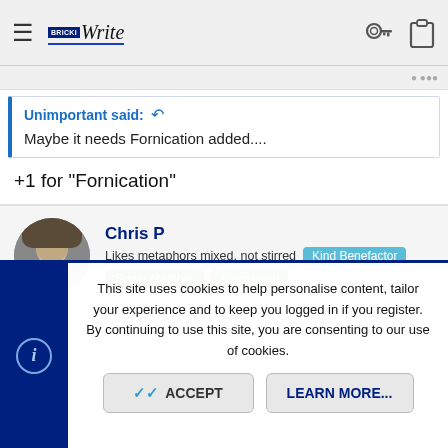BricaWrite [logo] [hamburger menu] [key icon] [clipboard icon]
Unimportant said: [reply icon]
Maybe it needs Fornication added....
+1 for "Fornication"
Chris P
Likes metaphors mixed, not stirred  Kind Benefactor
Super Member  Registered
This site uses cookies to help personalise content, tailor your experience and to keep you logged in if you register.
By continuing to use this site, you are consenting to our use of cookies.